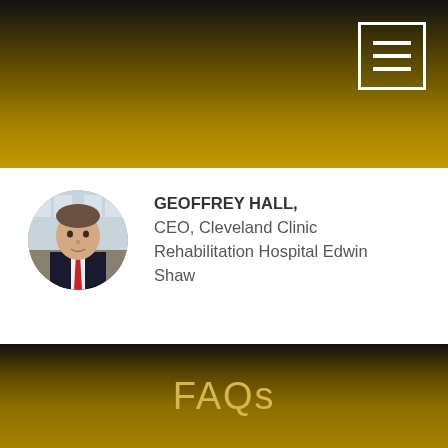[Figure (other): Top gradient header bar with dark-to-gold gradient background and hamburger menu icon in top-right corner]
[Figure (photo): Circular headshot photo of Geoffrey Hall, a man in a dark suit with red tie]
GEOFFREY HALL,
CEO, Cleveland Clinic Rehabilitation Hospital Edwin Shaw
FAQs